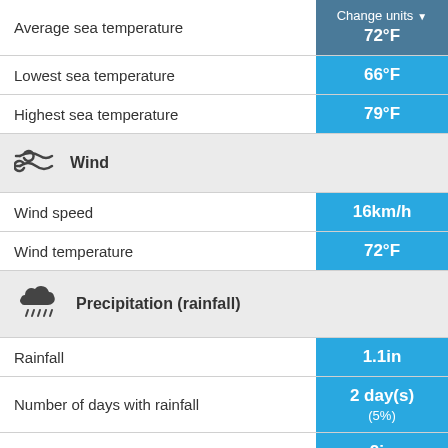| Metric | Value |
| --- | --- |
| Average sea temperature | 72°F |
| Lowest sea temperature | 66°F |
| Highest sea temperature | 79°F |
| Wind |  |
| Wind speed | 16km/h |
| Wind temperature | 72°F |
| Precipitation (rainfall) |  |
| Rainfall | 1.1in |
| Number of days with rainfall | 2 day(s) (5%) |
| Record daily rainfall | 2in (2017) |